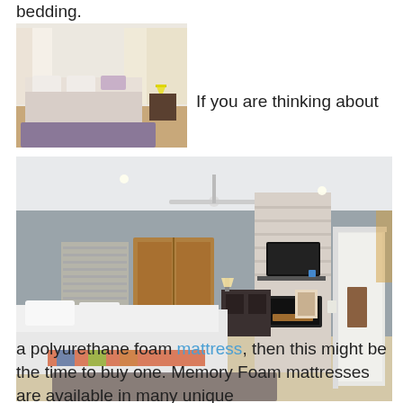bedding.
[Figure (photo): Bedroom with white/lavender bedding, wooden floor, curtains, purple rug and decorative pillows on a platform bed]
If you are thinking about
[Figure (photo): Modern master bedroom with gray walls, ceiling fan, stone fireplace with mounted TV, wooden wardrobe, white bedding, and en-suite bathroom doorway]
a polyurethane foam mattress, then this might be the time to buy one. Memory Foam mattresses are available in many unique